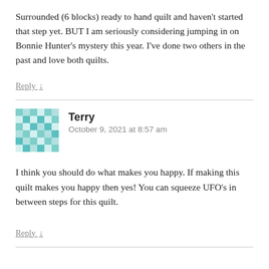Surrounded (6 blocks) ready to hand quilt and haven't started that step yet. BUT I am seriously considering jumping in on Bonnie Hunter's mystery this year. I've done two others in the past and love both quilts.
Reply ↓
[Figure (illustration): User avatar - teal/mint colored pixel/mosaic pattern icon]
Terry
October 9, 2021 at 8:57 am
I think you should do what makes you happy. If making this quilt makes you happy then yes! You can squeeze UFO's in between steps for this quilt.
Reply ↓